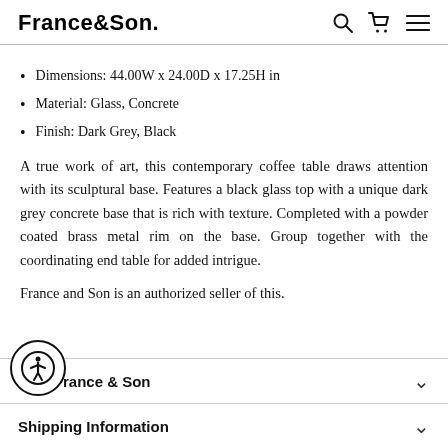France&Son
Dimensions: 44.00W x 24.00D x 17.25H in
Material: Glass, Concrete
Finish: Dark Grey, Black
A true work of art, this contemporary coffee table draws attention with its sculptural base. Features a black glass top with a unique dark grey concrete base that is rich with texture. Completed with a powder coated brass metal rim on the base. Group together with the coordinating end table for added intrigue.
France and Son is an authorized seller of this.
Why France & Son
Shipping Information